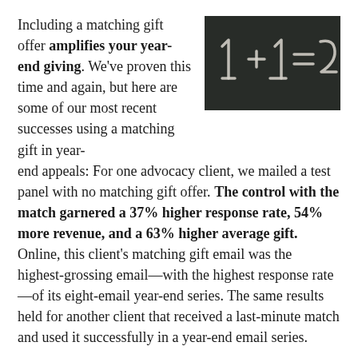Including a matching gift offer amplifies your year-end giving. We've proven this time and again, but here are some of our most recent successes using a matching gift in year-end appeals: For one advocacy client, we mailed a test panel with no matching gift offer. The control with the match garnered a 37% higher response rate, 54% more revenue, and a 63% higher average gift. Online, this client's matching gift email was the highest-grossing email—with the highest response rate—of its eight-email year-end series. The same results held for another client that received a last-minute match and used it successfully in a year-end email series.
[Figure (photo): Chalkboard with handwritten equation: 1 + 1 = 2]
One client had a slightly larger match to work with this year, which allowed us to set an earlier deadline with